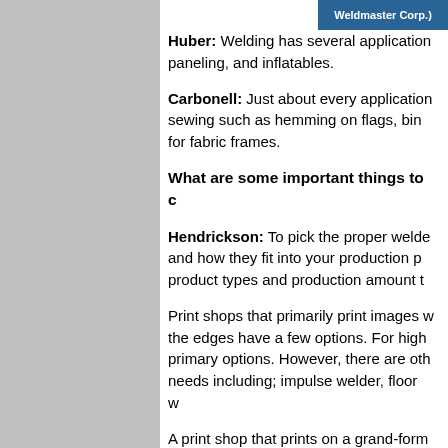Weldmaster Corp.)
Huber: Welding has several applications including paneling, and inflatables.
Carbonell: Just about every application that replaces sewing such as hemming on flags, binding, and frames for fabric frames.
What are some important things to consider
Hendrickson: To pick the proper welder, know your needs and how they fit into your production process. Know product types and production amount too.
Print shops that primarily print images with finishing at the edges have a few options. For high volume there are primary options. However, there are other welders for various needs including; impulse welder, floor welder.
A print shop that prints on a grand-format and needs straightedge seams also has options. A wedge welder. Other options depending upon the need.
To determine the size of welder that is needed, what are banners being produced? About 80 percent can be within the welding size.